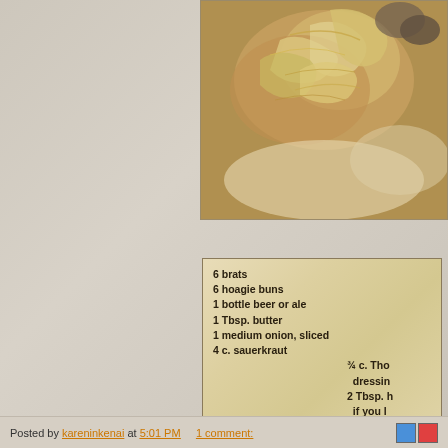[Figure (photo): Close-up photo of sauerkraut and bratwurst food dish on a plate, golden/tan colored strands of sauerkraut visible]
6 brats
6 hoagie buns
1 bottle beer or ale
1 Tbsp. butter
1 medium onion, sliced
4 c. sauerkraut
¾ c. Tho dressing
2 Tbsp. h if you l
1 tsp. car
Boil brats in beer for 10 minutes. Grill brats after b onions in butter till soft; add sauerkraut, Thou horseradish, and caraway seeds. Mix together a duce heat to simmer while grilling brats. Serve in sauerkraut mixture. Makes 6 servings.
Posted by kareninkenai at 5:01 PM   1 comment: